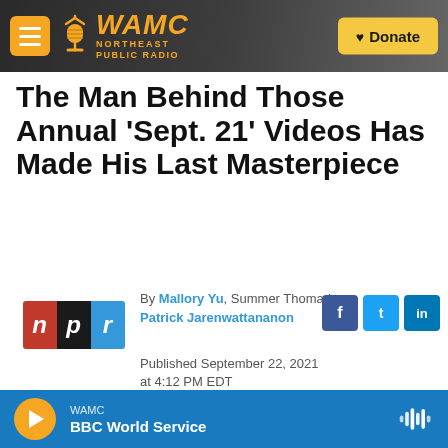WAMC NORTHEAST PUBLIC RADIO | Donate
The Man Behind Those Annual 'Sept. 21' Videos Has Made His Last Masterpiece
[Figure (logo): NPR logo with red N, black P, blue R letters]
By Mallory Yu, Summer Thomad, Patrick Jarenwattananon
Published September 22, 2021 at 4:12 PM EDT
WAMC BBC World Service